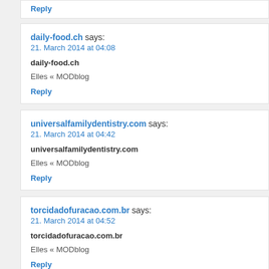Reply
daily-food.ch says:
21. March 2014 at 04:08
daily-food.ch
Elles « MODblog
Reply
universalfamilydentistry.com says:
21. March 2014 at 04:42
universalfamilydentistry.com
Elles « MODblog
Reply
torcidadofuracao.com.br says:
21. March 2014 at 04:52
torcidadofuracao.com.br
Elles « MODblog
Reply